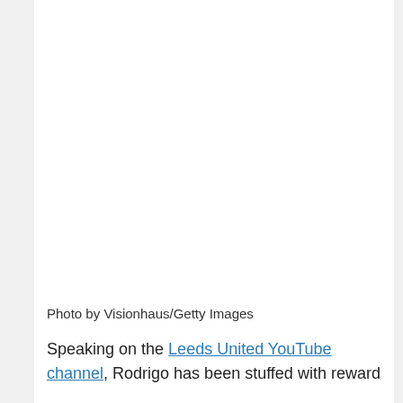[Figure (photo): Photo placeholder area (image not visible in this crop)]
Photo by Visionhaus/Getty Images
Speaking on the Leeds United YouTube channel, Rodrigo has been stuffed with reward